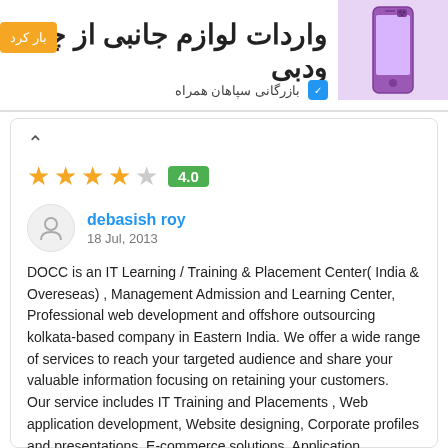[Figure (screenshot): Banner advertisement for importing accessories from China and Dubai, with orange button, Persian text title, purple phone image, and company name 'بازرگانی سپاهان همراه']
debasish roy
18 Jul, 2013
DOCC is an IT Learning / Training & Placement Center( India & Overeseas) , Management Admission and Learning Center, Professional web development and offshore outsourcing kolkata-based company in Eastern India. We offer a wide range of services to reach your targeted audience and share your valuable information focusing on retaining your customers.
Our service includes IT Training and Placements , Web application development, Website designing, Corporate profiles and presentations, E-commerce solutions, Application development, maintenance.
We offer a wide range of services to reach your targeted